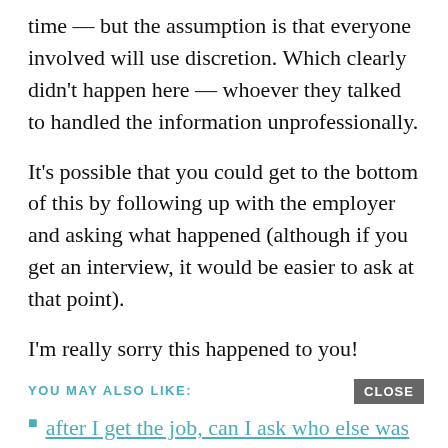time — but the assumption is that everyone involved will use discretion. Which clearly didn't happen here — whoever they talked to handled the information unprofessionally.
It's possible that you could get to the bottom of this by following up with the employer and asking what happened (although if you get an interview, it would be easier to ask at that point).
I'm really sorry this happened to you!
YOU MAY ALSO LIKE:
after I get the job, can I ask who else was in the candidate pool?